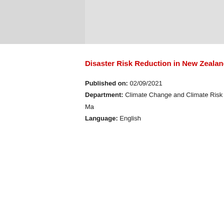Disaster Risk Reduction in New Zealand: St...
Published on: 02/09/2021
Department: Climate Change and Climate Risk Ma...
Language: English
Disaster Risk Reduction in Singapore: St...
Published on: 02/09/2021
Department: Climate Change and Climate Risk Ma...
Language: English
Disaster Risk Reduction in Thailand: St...